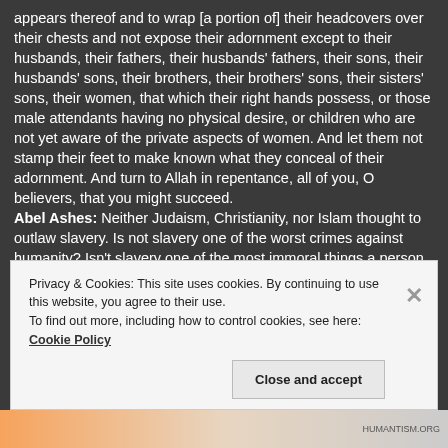appears thereof and to wrap [a portion of] their headcovers over their chests and not expose their adornment except to their husbands, their fathers, their husbands' fathers, their sons, their husbands' sons, their brothers, their brothers' sons, their sisters' sons, their women, that which their right hands possess, or those male attendants having no physical desire, or children who are not yet aware of the private aspects of women. And let them not stamp their feet to make known what they conceal of their adornment. And turn to Allah in repentance, all of you, O believers, that you might succeed.
Abel Ashes: Neither Judaism, Christianity, nor Islam thought to outlaw slavery. Is not slavery one of the worst crimes against humanity? Isn't slavery one of the most immoral things a person could do, and yet none of them...
Privacy & Cookies: This site uses cookies. By continuing to use this website, you agree to their use. To find out more, including how to control cookies, see here: Cookie Policy